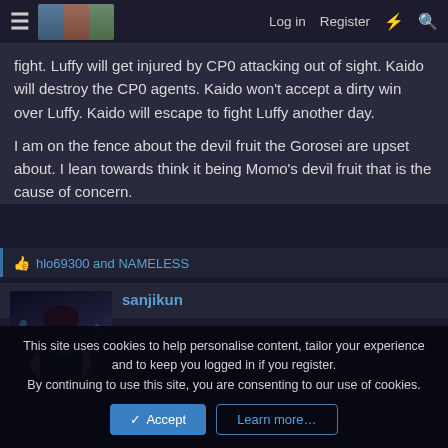Log in   Register
fight. Luffy will get injured by CP0 attacking out of sight. Kaido will destroy the CP0 agents. Kaido won't accept a dirty win over Luffy. Kaido will escape to fight Luffy another day.

I am on the fence about the devil fruit the Gorosei are upset about. I lean towards think it being Momo's devil fruit that is the cause of concern.
hlo69300 and NAMELESS
sanjikun
[Figure (illustration): Anime character avatar - dark figure with glowing green element and white ruffled collar/beard, dark background]
[Figure (illustration): Anime character avatar - red-haired character in dark coat with skull motifs, orange background]
This site uses cookies to help personalise content, tailor your experience and to keep you logged in if you register.
By continuing to use this site, you are consenting to our use of cookies.
Accept   Learn more...